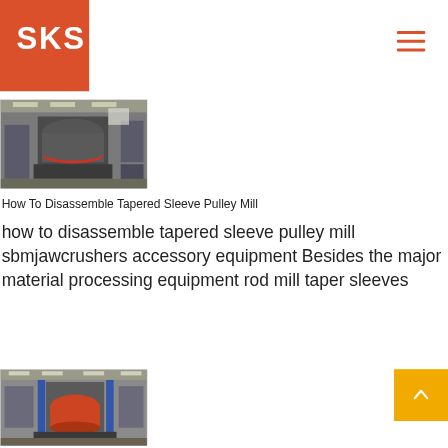SKS
[Figure (photo): Industrial cone crusher machine in a factory setting, gray metal equipment with red accents]
How To Disassemble Tapered Sleeve Pulley Mill
how to disassemble tapered sleeve pulley mill sbmjawcrushers accessory equipment Besides the major material processing equipment rod mill taper sleeves
[Figure (photo): Industrial crushing machine equipment in a factory, with blue and red elements visible]